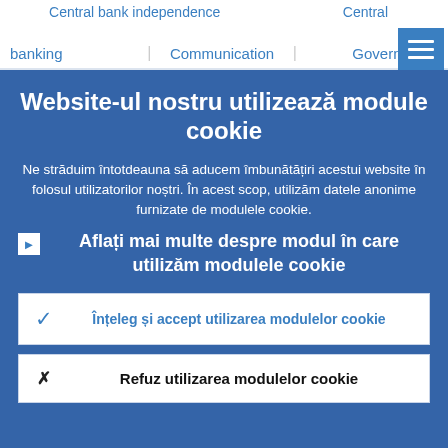Central bank independence | Communication | Central banking | Governance
Website-ul nostru utilizează module cookie
Ne străduim întotdeauna să aducem îmbunătățiri acestui website în folosul utilizatorilor noștri. În acest scop, utilizăm datele anonime furnizate de modulele cookie.
Aflați mai multe despre modul în care utilizăm modulele cookie
Înțeleg și accept utilizarea modulelor cookie
Refuz utilizarea modulelor cookie